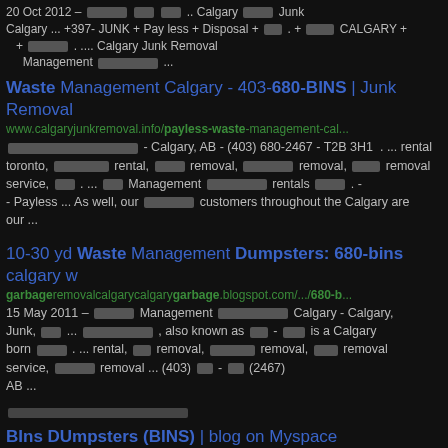20 Oct 2012 – ... Calgary ... +397- JUNK + Pay less + Disposal + . + CALGARY + + . .... Calgary Junk Removal Management ...
Waste Management Calgary - 403-680-BINS | Junk Removal
www.calgaryjunkremoval.info/payless-waste-management-cal...
- Calgary, AB - (403) 680-2467 - T2B 3H1 . ... rental toronto, rental, removal, removal, removal service, . ... Management rentals . - - Payless ... As well, our customers throughout the Calgary are our ...
10-30 yd Waste Management Dumpsters: 680-bins calgary w
garbageremovalcalgarycalgarygarbage.blogspot.com/.../680-b...
15 May 2011 – Management Calgary - Calgary, Junk, ... , also known as - is a Calgary born ... rental, removal, removal, removal service, removal ... (403) - (2467) AB ...
BIns DUmpsters (BINS) | blog on Myspace
www.myspace.com/calgarywastemanagement/blog
20 Dec 2011 – , Junk, , Rubbish , Removal, ... also known as - disposal, rental, calgary,